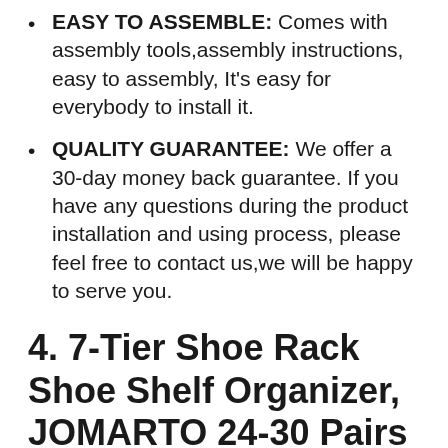EASY TO ASSEMBLE: Comes with assembly tools,assembly instructions, easy to assembly, It's easy for everybody to install it.
QUALITY GUARANTEE: We offer a 30-day money back guarantee. If you have any questions during the product installation and using process, please feel free to contact us,we will be happy to serve you.
4. 7-Tier Shoe Rack Shoe Shelf Organizer, JOMARTO 24-30 Pairs Shoes and Boots Storage Organizer Metal Shoe Tower with Side Hangers Shoe...